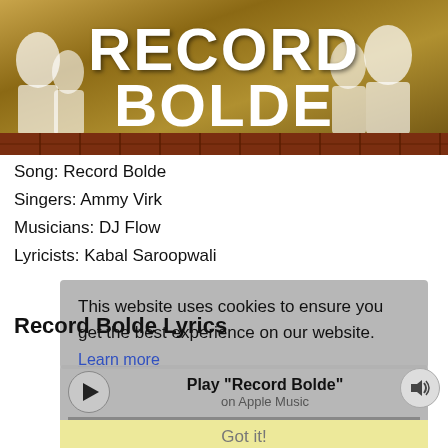[Figure (photo): Album art for 'Record Bolde' by Ammy Virk. Shows people in white clothing against a rural background with brick wall. Large bold white text reads 'RECORD BOLDE' with 'AMMY VIRK' below.]
Song: Record Bolde
Singers: Ammy Virk
Musicians: DJ Flow
Lyricists: Kabal Saroopwali
Record Bolde Lyrics
This website uses cookies to ensure you get the best experience on our website.
Learn more
Play "Record Bolde" on Apple Music
Got it!